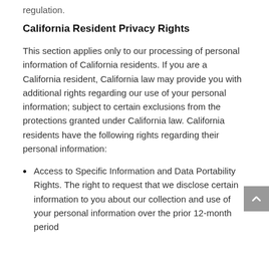regulation.
California Resident Privacy Rights
This section applies only to our processing of personal information of California residents. If you are a California resident, California law may provide you with additional rights regarding our use of your personal information; subject to certain exclusions from the protections granted under California law. California residents have the following rights regarding their personal information:
Access to Specific Information and Data Portability Rights. The right to request that we disclose certain information to you about our collection and use of your personal information over the prior 12-month period